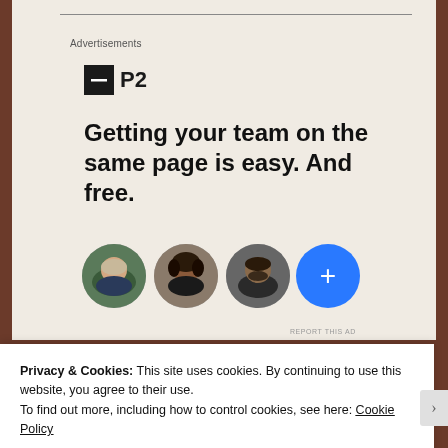Advertisements
[Figure (logo): P2 logo - dark square icon with minus symbol and 'P2' text]
Getting your team on the same page is easy. And free.
[Figure (illustration): Row of three circular profile photo avatars plus a blue circle with plus sign]
REPORT THIS AD
Privacy & Cookies: This site uses cookies. By continuing to use this website, you agree to their use.
To find out more, including how to control cookies, see here: Cookie Policy
Close and accept